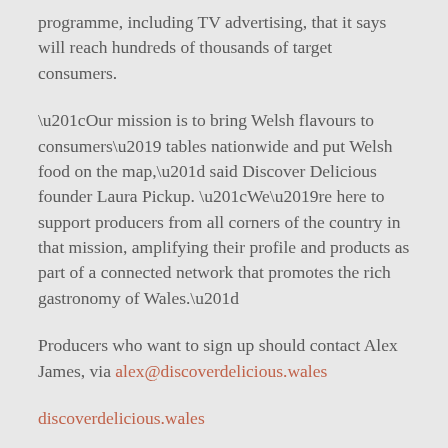programme, including TV advertising, that it says will reach hundreds of thousands of target consumers.
“Our mission is to bring Welsh flavours to consumers’ tables nationwide and put Welsh food on the map,” said Discover Delicious founder Laura Pickup. “We’re here to support producers from all corners of the country in that mission, amplifying their profile and products as part of a connected network that promotes the rich gastronomy of Wales.”
Producers who want to sign up should contact Alex James, via alex@discoverdelicious.wales
discoverdelicious.wales